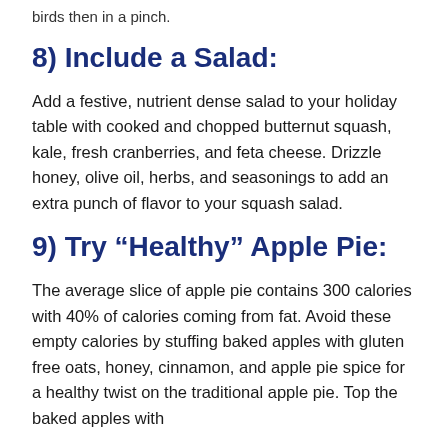birds then in a pinch.
8) Include a Salad:
Add a festive, nutrient dense salad to your holiday table with cooked and chopped butternut squash, kale, fresh cranberries, and feta cheese. Drizzle honey, olive oil, herbs, and seasonings to add an extra punch of flavor to your squash salad.
9) Try “Healthy” Apple Pie:
The average slice of apple pie contains 300 calories with 40% of calories coming from fat. Avoid these empty calories by stuffing baked apples with gluten free oats, honey, cinnamon, and apple pie spice for a healthy twist on the traditional apple pie. Top the baked apples with